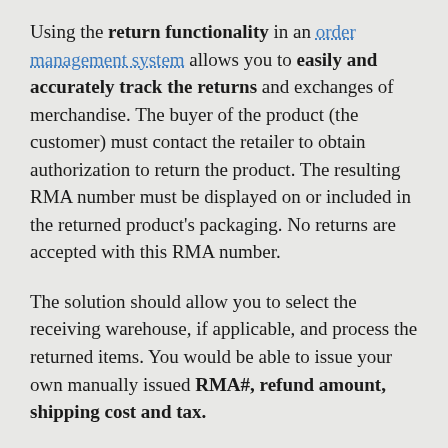Using the return functionality in an order management system allows you to easily and accurately track the returns and exchanges of merchandise. The buyer of the product (the customer) must contact the retailer to obtain authorization to return the product. The resulting RMA number must be displayed on or included in the returned product's packaging. No returns are accepted with this RMA number.
The solution should allow you to select the receiving warehouse, if applicable, and process the returned items. You would be able to issue your own manually issued RMA#, refund amount, shipping cost and tax.
If you choose drop shipping as a method of fulfilling orders, it's easy to get your eCommerce store up and